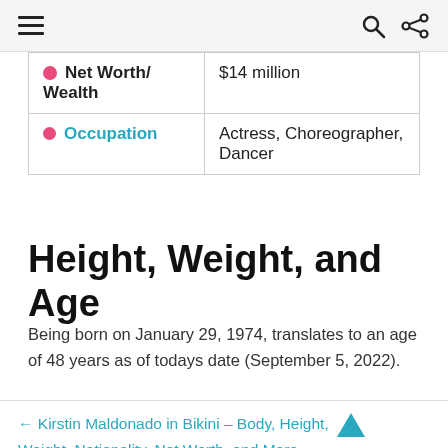≡  🔍  ⇄
| Net Worth/ Wealth | $14 million |
| Occupation | Actress, Choreographer, Dancer |
Height, Weight, and Age
Being born on January 29, 1974, translates to an age of 48 years as of todays date (September 5, 2022).
← Kirstin Maldonado in Bikini – Body, Height, Weight, Nationality, Net Worth, and More